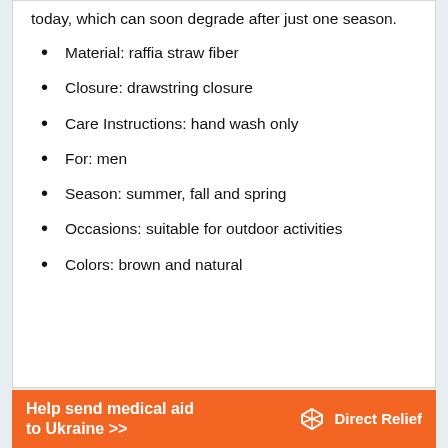today, which can soon degrade after just one season.
Material: raffia straw fiber
Closure: drawstring closure
Care Instructions: hand wash only
For: men
Season: summer, fall and spring
Occasions: suitable for outdoor activities
Colors: brown and natural
[Figure (infographic): Orange advertisement banner reading 'Help send medical aid to Ukraine >>' with Direct Relief logo on the right]